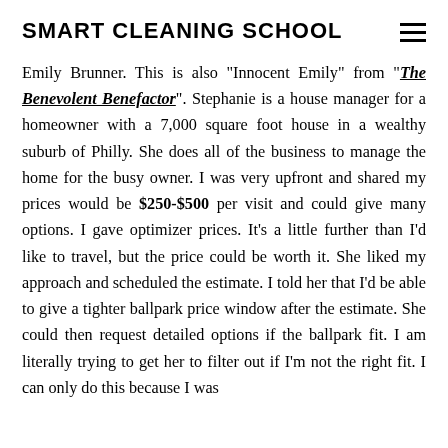SMART CLEANING SCHOOL
Emily Brunner. This is also "Innocent Emily" from "The Benevolent Benefactor". Stephanie is a house manager for a homeowner with a 7,000 square foot house in a wealthy suburb of Philly. She does all of the business to manage the home for the busy owner. I was very upfront and shared my prices would be $250-$500 per visit and could give many options. I gave optimizer prices. It's a little further than I'd like to travel, but the price could be worth it. She liked my approach and scheduled the estimate. I told her that I'd be able to give a tighter ballpark price window after the estimate. She could then request detailed options if the ballpark fit. I am literally trying to get her to filter out if I'm not the right fit. I can only do this because I was